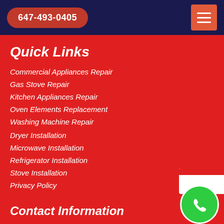647-493-0405
Quick Links
Commercial Appliances Repair
Gas Stove Repair
Kitchen Appliances Repair
Oven Elements Replacement
Washing Machine Repair
Dryer Installation
Microwave Installation
Refrigerator Installation
Stove Installation
Privacy Policy
Contact Information